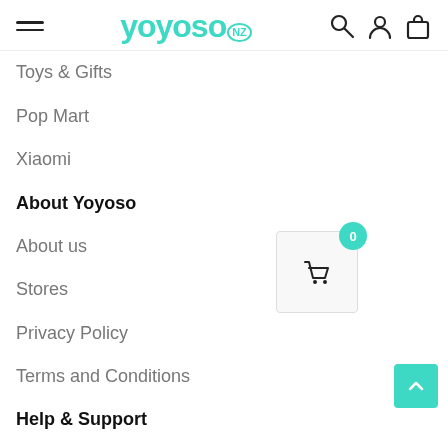YOYOSO.NZ — navigation header with hamburger menu, logo, search, account, and cart icons
Toys & Gifts
Pop Mart
Xiaomi
About Yoyoso
About us
Stores
Privacy Policy
Terms and Conditions
Help & Support
Contact us
Follow Us
[Figure (screenshot): Facebook and Instagram social media icons in teal/cyan color]